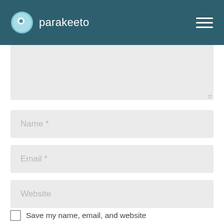parakeeto
[Figure (screenshot): Comment form with textarea, Name, Email, Website fields and a save checkbox]
Name *
Email *
Website
Save my name, email, and website